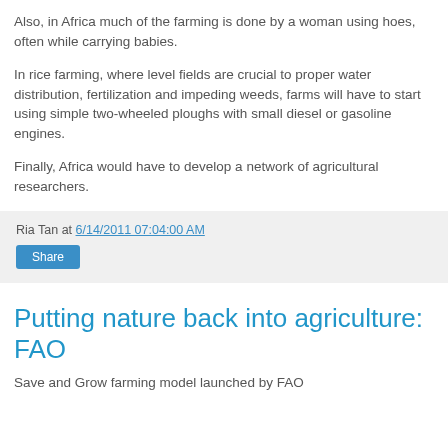Also, in Africa much of the farming is done by a woman using hoes, often while carrying babies.
In rice farming, where level fields are crucial to proper water distribution, fertilization and impeding weeds, farms will have to start using simple two-wheeled ploughs with small diesel or gasoline engines.
Finally, Africa would have to develop a network of agricultural researchers.
Ria Tan at 6/14/2011 07:04:00 AM
Share
Putting nature back into agriculture: FAO
Save and Grow farming model launched by FAO